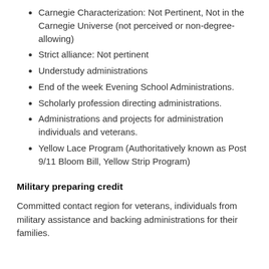Carnegie Characterization: Not Pertinent, Not in the Carnegie Universe (not perceived or non-degree-allowing)
Strict alliance: Not pertinent
Understudy administrations
End of the week Evening School Administrations.
Scholarly profession directing administrations.
Administrations and projects for administration individuals and veterans.
Yellow Lace Program (Authoritatively known as Post 9/11 Bloom Bill, Yellow Strip Program)
Military preparing credit
Committed contact region for veterans, individuals from military assistance and backing administrations for their families.